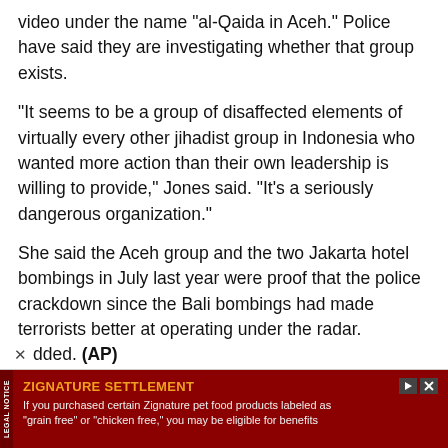video under the name "al-Qaida in Aceh." Police have said they are investigating whether that group exists.
"It seems to be a group of disaffected elements of virtually every other jihadist group in Indonesia who wanted more action than their own leadership is willing to provide," Jones said. "It's a seriously dangerous organization."
She said the Aceh group and the two Jakarta hotel bombings in July last year were proof that the police crackdown since the Bali bombings had made terrorists better at operating under the radar.
"The crackdown has produced major successes and major results, but I don't think anybody, least of all the police, believes that the threat is anywhere near eradicated," she added. (AP)
[Figure (other): Advertisement banner: ZIGNATURE SETTLEMENT legal notice. Dark red background. Text: 'ZIGNATURE SETTLEMENT' in orange bold. Body: 'If you purchased certain Zignature pet food products labeled as "grain free" or "chicken free," you may be eligible for benefits']